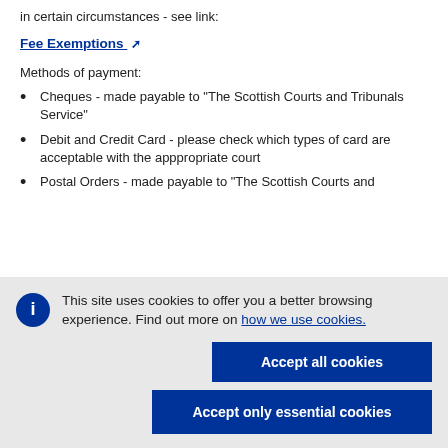in certain circumstances - see link:
Fee Exemptions [external link]
Methods of payment:
Cheques - made payable to "The Scottish Courts and Tribunals Service"
Debit and Credit Card  - please check which types of card are acceptable with the apppropriate court
Postal Orders - made payable to "The Scottish Courts and..." (partially visible)
[Figure (screenshot): Cookie consent banner with info icon, message about site cookies, link to 'how we use cookies.', and two buttons: 'Accept all cookies' and 'Accept only essential cookies']